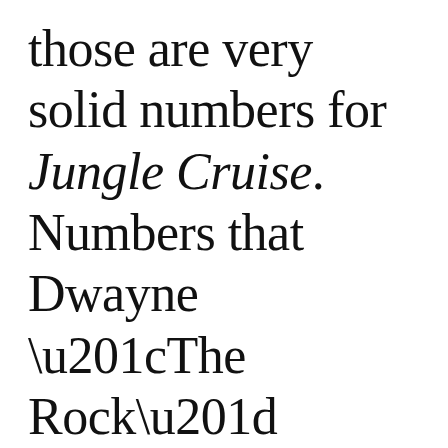those are very solid numbers for Jungle Cruise. Numbers that Dwayne “The Rock” Johnson celebrated a few times along with his 260 million followers on